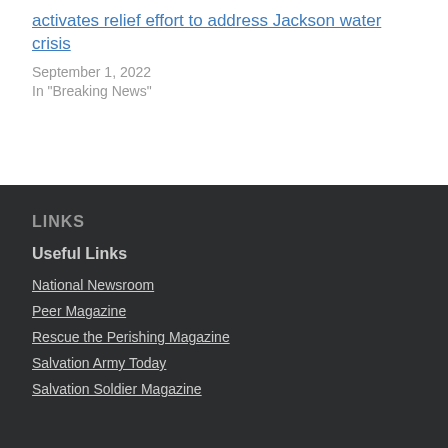activates relief effort to address Jackson water crisis
September 1, 2022
In "Breaking News"
LINKS
Useful Links
National Newsroom
Peer Magazine
Rescue the Perishing Magazine
Salvation Army Today
Salvation Soldier Magazine